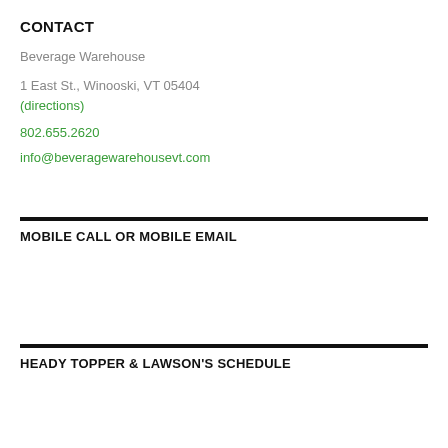CONTACT
Beverage Warehouse
1 East St., Winooski, VT 05404
(directions)
802.655.2620
info@beveragewarehousevt.com
MOBILE CALL OR MOBILE EMAIL
HEADY TOPPER & LAWSON'S SCHEDULE